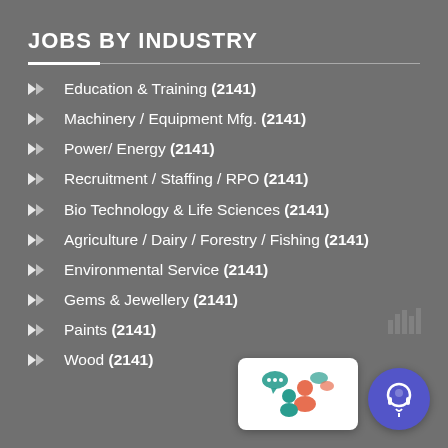JOBS BY INDUSTRY
Education & Training (2141)
Machinery / Equipment Mfg. (2141)
Power/ Energy (2141)
Recruitment / Staffing / RPO (2141)
Bio Technology & Life Sciences (2141)
Agriculture / Dairy / Forestry / Fishing (2141)
Environmental Service (2141)
Gems & Jewellery (2141)
Paints (2141)
Wood (2141)
[Figure (illustration): Chat/people icon widget (white box with teal and red figures talking)]
[Figure (illustration): Blue circle support/headset icon]